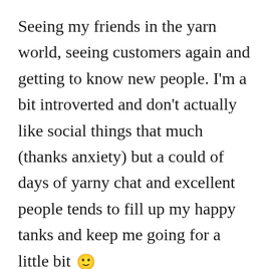Seeing my friends in the yarn world, seeing customers again and getting to know new people. I'm a bit introverted and don't actually like social things that much (thanks anxiety) but a could of days of yarny chat and excellent people tends to fill up my happy tanks and keep me going for a little bit 🙂
What yarn craft do you wish you were good at?